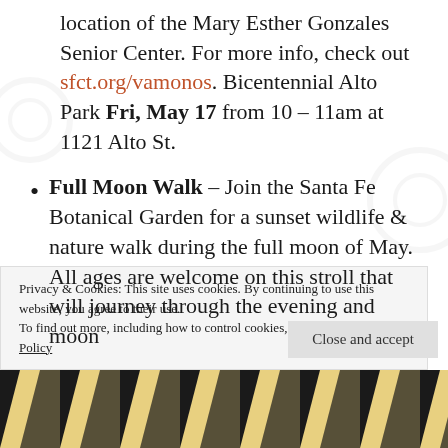location of the Mary Esther Gonzales Senior Center. For more info, check out sfct.org/vamonos. Bicentennial Alto Park Fri, May 17 from 10 – 11am at 1121 Alto St.
Full Moon Walk – Join the Santa Fe Botanical Garden for a sunset wildlife & nature walk during the full moon of May. All ages are welcome on this stroll that will journey through the evening and moon…
Privacy & Cookies: This site uses cookies. By continuing to use this website, you agree to their use. To find out more, including how to control cookies, see here: Cookie Policy
Close and accept